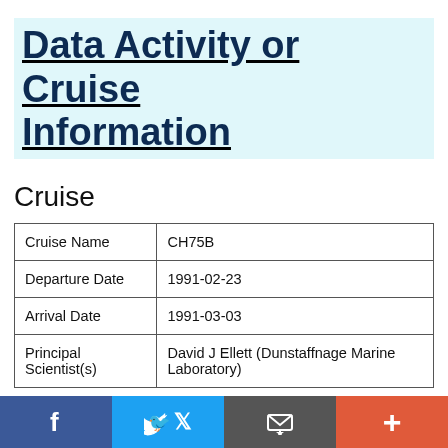Data Activity or Cruise Information
Cruise
| Cruise Name | CH75B |
| Departure Date | 1991-02-23 |
| Arrival Date | 1991-03-03 |
| Principal Scientist(s) | David J Ellett (Dunstaffnage Marine Laboratory) |